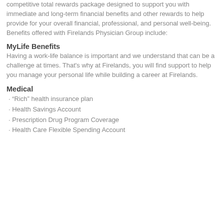competitive total rewards package designed to support you with immediate and long-term financial benefits and other rewards to help provide for your overall financial, professional, and personal well-being. Benefits offered with Firelands Physician Group include:
MyLife Benefits
Having a work-life balance is important and we understand that can be a challenge at times. That's why at Firelands, you will find support to help you manage your personal life while building a career at Firelands.
Medical
• “Rich” health insurance plan
• Health Savings Account
• Prescription Drug Program Coverage
• Health Care Flexible Spending Account